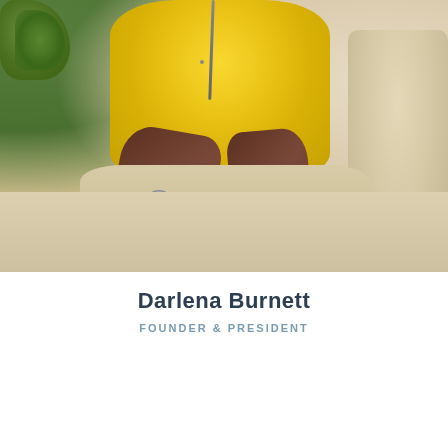[Figure (photo): Woman wearing a yellow long-sleeve shirt and beige pants, seated on a light beige sofa. She has a necklace, a watch on her left wrist, and a ring. Green plants visible in background top left.]
Darlena Burnett
FOUNDER & PRESIDENT
[Figure (photo): Partial view of a person with dark hair, wearing a pink/red glittery hat or headpiece with feathers and sparkle decorations, photographed against a light pink/beige background.]